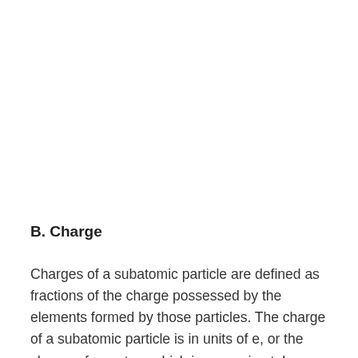B. Charge
Charges of a subatomic particle are defined as fractions of the charge possessed by the elements formed by those particles. The charge of a subatomic particle is in units of e, or the charge of a proton, which is approximately